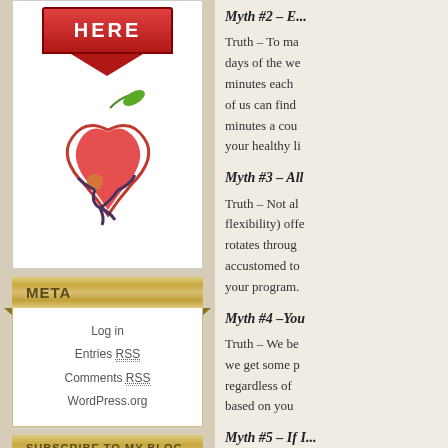[Figure (illustration): Red HERE button with downward point arrow and apple/yoga illustration below]
META
Log in
Entries RSS
Comments RSS
WordPress.org
SUBSCRIBE TO MY BLOG VIA EMAIL
Enter your email address to subscribe to this blog and receive notifications of new posts by email.
Email Address
Myth #2 – ...
Truth – To ma... days of the we... minutes each... of us can find... minutes a cou... your healthy li...
Myth #3 – All
Truth – Not al... flexibility) offe... rotates throug... accustomed to... your program.
Myth #4 –You
Truth – We be... we get some p... regardless of... based on you...
Myth #5 – If I...